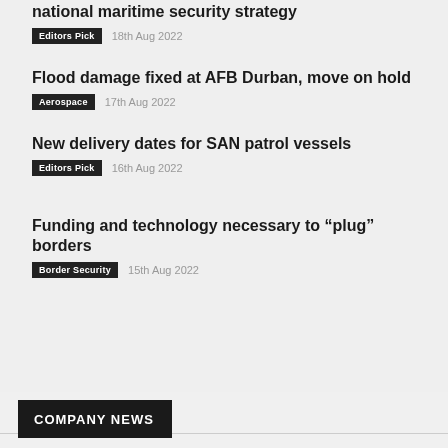national maritime security strategy
Editors Pick  18th Aug 2022
Flood damage fixed at AFB Durban, move on hold
Aerospace  17th Aug 2022
New delivery dates for SAN patrol vessels
Editors Pick  16th Aug 2022
Funding and technology necessary to “plug” borders
Border Security  15th Aug 2022
COMPANY NEWS